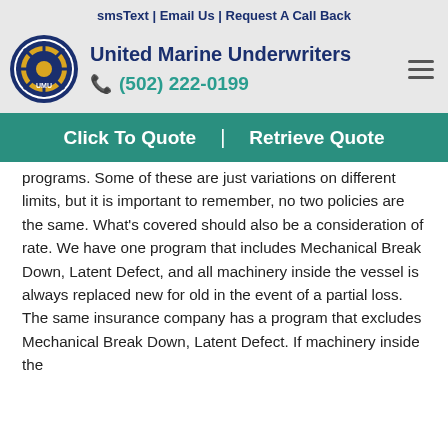smsText | Email Us | Request A Call Back
United Marine Underwriters
(502) 222-0199
Click To Quote | Retrieve Quote
programs. Some of these are just variations on different limits, but it is important to remember, no two policies are the same. What's covered should also be a consideration of rate. We have one program that includes Mechanical Break Down, Latent Defect, and all machinery inside the vessel is always replaced new for old in the event of a partial loss. The same insurance company has a program that excludes Mechanical Break Down, Latent Defect. If machinery inside the